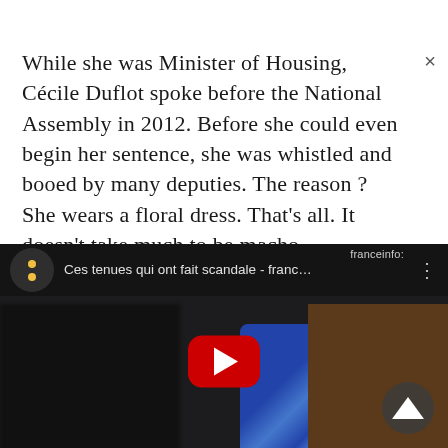While she was Minister of Housing, Cécile Duflot spoke before the National Assembly in 2012. Before she could even begin her sentence, she was whistled and booed by many deputies. The reason ? She wears a floral dress. That's all. It doesn't take much to be macho.
[Figure (screenshot): YouTube video thumbnail preview with dark background showing a woman in a floral dress. The video title reads 'Ces tenues qui ont fait scandale - franc...' with franceinfo: branding visible. A red play button is centered over the thumbnail. A cast/screen button appears in the bottom right corner.]